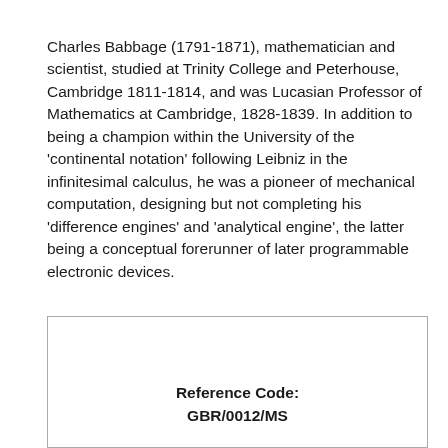Charles Babbage (1791-1871), mathematician and scientist, studied at Trinity College and Peterhouse, Cambridge 1811-1814, and was Lucasian Professor of Mathematics at Cambridge, 1828-1839. In addition to being a champion within the University of the 'continental notation' following Leibniz in the infinitesimal calculus, he was a pioneer of mechanical computation, designing but not completing his 'difference engines' and 'analytical engine', the latter being a conceptual forerunner of later programmable electronic devices.
Reference Code: GBR/0012/MS